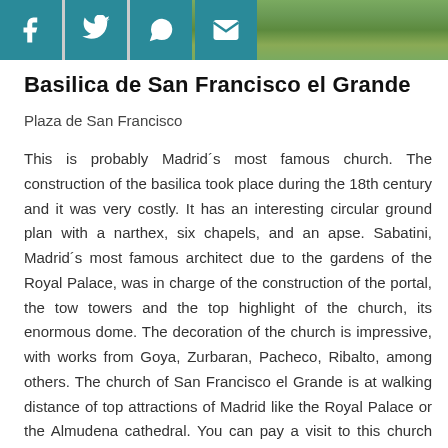[Figure (photo): Top banner with partial photo of greenery/garden on the right, and four social media share icons (Facebook, Twitter, WhatsApp, Email) on teal square backgrounds on the left.]
Basilica de San Francisco el Grande
Plaza de San Francisco
This is probably Madrid´s most famous church. The construction of the basilica took place during the 18th century and it was very costly. It has an interesting circular ground plan with a narthex, six chapels, and an apse. Sabatini, Madrid´s most famous architect due to the gardens of the Royal Palace, was in charge of the construction of the portal, the tow towers and the top highlight of the church, its enormous dome. The decoration of the church is impressive, with works from Goya, Zurbaran, Pacheco, Ribalto, among others. The church of San Francisco el Grande is at walking distance of top attractions of Madrid like the Royal Palace or the Almudena cathedral. You can pay a visit to this church and then aim to La Latina district (5 minutes walk) to enjoy tapas at one of its many terraces.